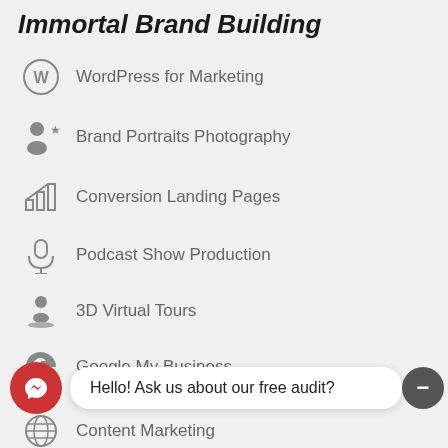Immortal Brand Building
WordPress for Marketing
Brand Portraits Photography
Conversion Landing Pages
Podcast Show Production
3D Virtual Tours
Google My Business
Hello! Ask us about our free audit?
Content Marketing